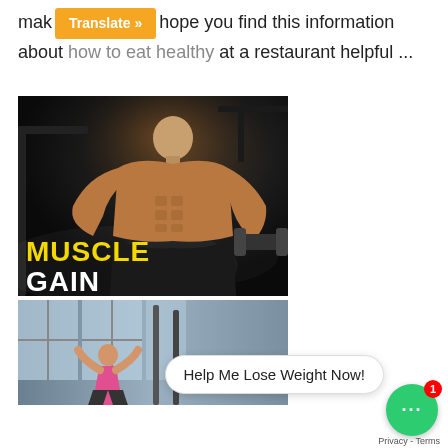mak... [Translate »] hope you find this information about how to eat healthy at a restaurant helpful ...
[Figure (photo): Muscular bodybuilder in a dark gym curling a heavy dumbbell, with 'MUSCLE GAIN' text overlay in yellow and white at bottom-left]
[Figure (photo): Person exercising in a gym with large windows, partial view]
Help Me Lose Weight Now!
Privacy - Terms